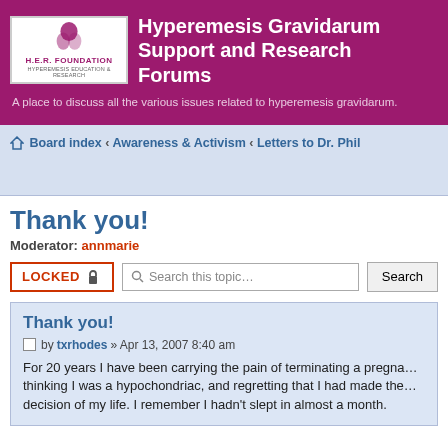Hyperemesis Gravidarum Support and Research Forums — A place to discuss all the various issues related to hyperemesis gravidarum.
Board index › Awareness & Activism › Letters to Dr. Phil
Thank you!
Moderator: annmarie
LOCKED 🔒   Search this topic…   Search
Thank you!
Post by txrhodes » Apr 13, 2007 8:40 am
For 20 years I have been carrying the pain of terminating a pregna... thinking I was a hypochondriac, and regretting that I had made the... decision of my life. I remember I hadn't slept in almost a month.